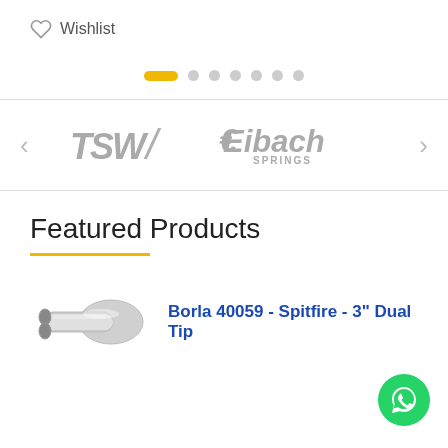♡ Wishlist
[Figure (infographic): Pagination dots: one active yellow elongated dot followed by 6 small grey circular dots]
[Figure (logo): Brand logo carousel with left/right arrows. Left logo: TSW (grey italicized bold sans-serif). Right logo: Eibach Springs (grey stylized text with 'SPRINGS' below 'Eibach').]
Featured Products
[Figure (photo): Chrome exhaust muffler tip product photo - Borla 40059 Spitfire 3 inch Dual Tip]
Borla 40059 - Spitfire - 3" Dual Tip